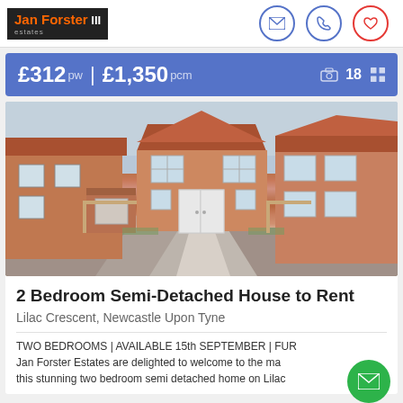Jan Forster estates
£312 pw | £1,350 pcm — 18 photos
[Figure (photo): Exterior photo of a 2 bedroom semi-detached new-build brick house on Lilac Crescent, Newcastle Upon Tyne, with driveway and neighbouring properties visible]
2 Bedroom Semi-Detached House to Rent
Lilac Crescent, Newcastle Upon Tyne
TWO BEDROOMS | AVAILABLE 15th SEPTEMBER | FUR... Jan Forster Estates are delighted to welcome to the ma... this stunning two bedroom semi detached home on Lilac